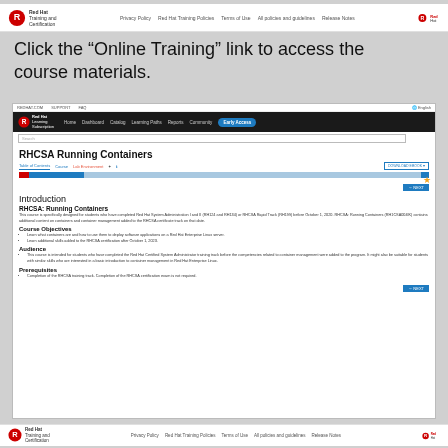Red Hat Training and Certification | Privacy Policy | Red Hat Training Policies | Terms of Use | All policies and guidelines | Release Notes | Red Hat
Click the “Online Training” link to access the course materials.
[Figure (screenshot): Screenshot of Red Hat Learning Subscription portal showing the RHCSA Running Containers course page with navigation tabs (Table of Contents, Course, Lab Environment), a progress bar, Introduction section with RHCSA: Running Containers heading, Course Objectives, Audience, and Prerequisites sections. A NEXT button appears at bottom right.]
Red Hat Training and Certification | Privacy Policy | Red Hat Training Policies | Terms of Use | All policies and guidelines | Release Notes | Red Hat